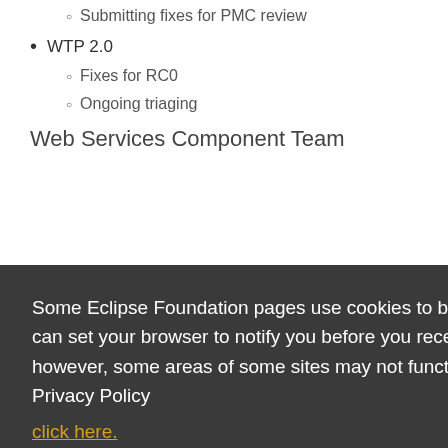Submitting fixes for PMC review
WTP 2.0
Fixes for RC0
Ongoing triaging
Web Services Component Team
Some Eclipse Foundation pages use cookies to better serve you when you return to the site. You can set your browser to notify you before you receive a cookie or turn off cookies. If you do so, however, some areas of some sites may not function properly. To read Eclipse Foundation Privacy Policy click here.
Decline
Allow cookies
RPE 173932 will upgrade Apache Axis